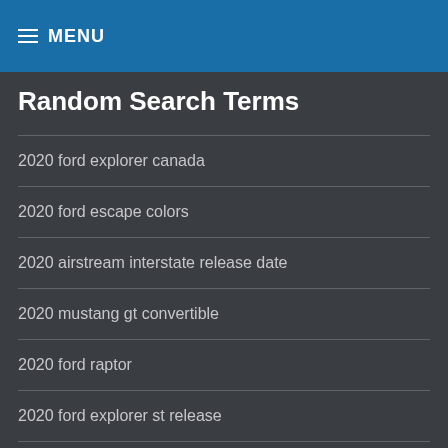MENU
Random Search Terms
2020 ford explorer canada
2020 ford escape colors
2020 airstream interstate release date
2020 mustang gt convertible
2020 ford raptor
2020 ford explorer st release
ford kuga 2020 release date
2020 ford escape sport
2020 ford mustang colors